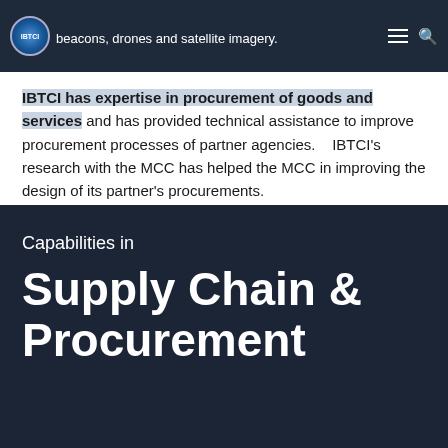beacons, drones and satellite imagery.
IBTCI has expertise in procurement of goods and services and has provided technical assistance to improve procurement processes of partner agencies.   IBTCI's research with the MCC has helped the MCC in improving the design of its partner's procurements.
Capabilities in
Supply Chain & Procurement